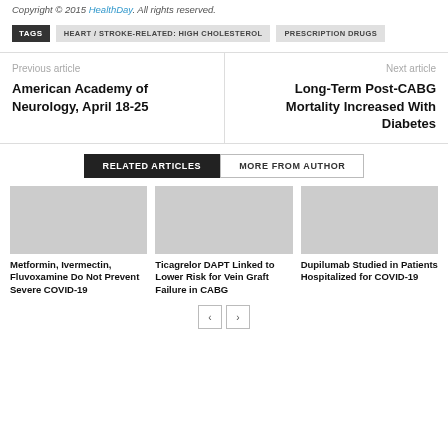Copyright © 2015 HealthDay. All rights reserved.
TAGS  HEART / STROKE-RELATED: HIGH CHOLESTEROL  PRESCRIPTION DRUGS
Previous article
American Academy of Neurology, April 18-25
Next article
Long-Term Post-CABG Mortality Increased With Diabetes
RELATED ARTICLES  MORE FROM AUTHOR
Metformin, Ivermectin, Fluvoxamine Do Not Prevent Severe COVID-19
Ticagrelor DAPT Linked to Lower Risk for Vein Graft Failure in CABG
Dupilumab Studied in Patients Hospitalized for COVID-19